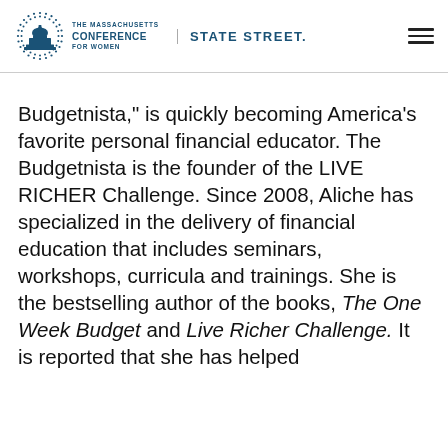The Massachusetts Conference for Women | State Street
Budgetnista,” is quickly becoming America’s favorite personal financial educator. The Budgetnista is the founder of the LIVE RICHER Challenge. Since 2008, Aliche has specialized in the delivery of financial education that includes seminars, workshops, curricula and trainings. She is the bestselling author of the books, The One Week Budget and Live Richer Challenge. It is reported that she has helped...